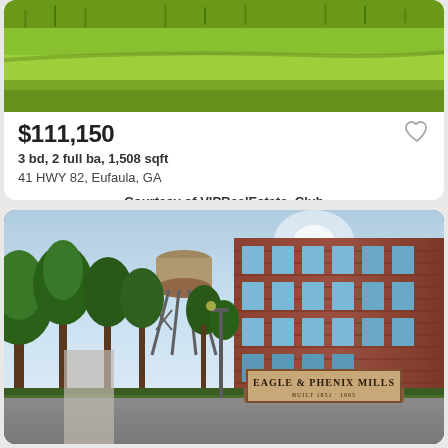[Figure (photo): Aerial view of green grass lawn, top portion of property listing photo]
$111,150
3 bd, 2 full ba, 1,508 sqft
41 HWY 82, Eufaula, GA
Courtesy of VIPRealEstate. Club
[Figure (photo): Street view of Eagle & Phenix Mills brick building with water tower and trees, sign reads EAGLE & PHENIX MILLS BUILT 1851 - 1985]